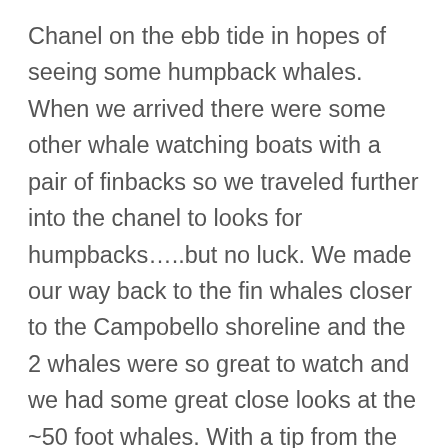Chanel on the ebb tide in hopes of seeing some humpback whales. When we arrived there were some other whale watching boats with a pair of finbacks so we traveled further into the chanel to looks for humpbacks…..but no luck. We made our way back to the fin whales closer to the Campobello shoreline and the 2 whales were so great to watch and we had some great close looks at the ~50 foot whales. With a tip from the Grand Manan Ferry that there were reports of humpbacks towards South Wolf a few hours ago we decided to take a run over and on our way John picked up a humpback whale (he did a partial breach so made it easy to see!). We quickly ID'ed the humpback as EKG and even though EKG was doing ~10 minute dives we still